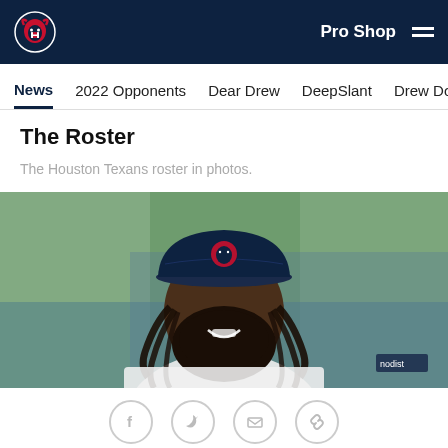Houston Texans navigation bar with logo, Pro Shop link, and hamburger menu
News  2022 Opponents  Dear Drew  DeepSlant  Drew Downfield
The Roster
The Houston Texans roster in photos.
[Figure (photo): Photo of a Houston Texans player wearing a navy Texans cap and white jersey, smiling, with dreadlocks and a beard. Green blurred background.]
Social share icons: Facebook, Twitter, Email, Link